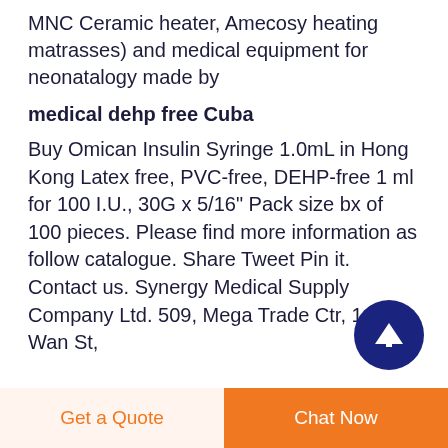MNC Ceramic heater, Amecosy heating matrasses) and medical equipment for neonatalogy made by
medical dehp free Cuba
Buy Omican Insulin Syringe 1.0mL in Hong Kong Latex free, PVC-free, DEHP-free 1 ml for 100 I.U., 30G x 5/16" Pack size bx of 100 pieces. Please find more information as follow catalogue. Share Tweet Pin it. Contact us. Synergy Medical Supply Company Ltd. 509, Mega Trade Ctr, 1 Mei Wan St,
[Figure (other): Dark blue circular scroll-to-top button with upward arrow icon]
Get a Quote
Chat Now